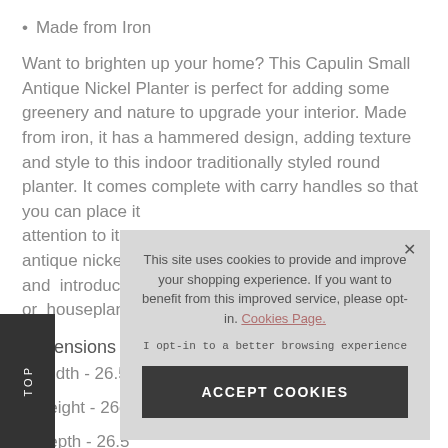Made from Iron
Want to brighten up your home? This Capulin Small Antique Nickel Planter is perfect for adding some greenery and nature to upgrade your interior. Made from iron, it has a hammered design, adding texture and style to this indoor traditionally styled round planter. It comes complete with carry handles so that you can place it attention to its u antique nickel, a and introduce so or houseplant.
Dimensions
Width - 26.5cm
Height - 26cm
Depth - 26.5
This site uses cookies to provide and improve your shopping experience. If you want to benefit from this improved service, please opt-in. Cookies Page. I opt-in to a better browsing experience ACCEPT COOKIES